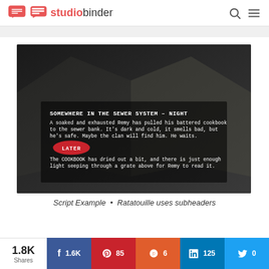studiobinder
[Figure (screenshot): Screenshot of a screenplay page from Ratatouille showing scene heading 'SOMEWHERE IN THE SEWER SYSTEM - NIGHT', action lines, and a circled subheader 'LATER', displayed over a dark background photo of a book]
Script Example • Ratatouille uses subheaders
1.8K Shares
f 1.6K
P 85
reddit 6
in 125
t 0